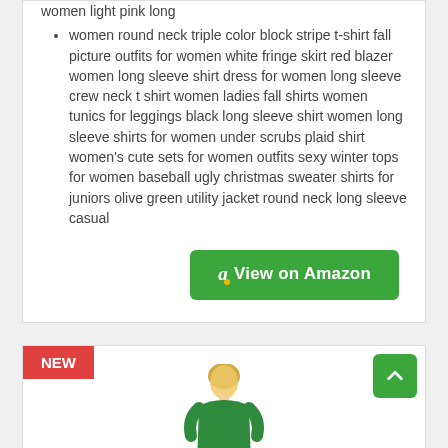women light pink long
women round neck triple color block stripe t-shirt fall picture outfits for women white fringe skirt red blazer women long sleeve shirt dress for women long sleeve crew neck t shirt women ladies fall shirts women tunics for leggings black long sleeve shirt women long sleeve shirts for women under scrubs plaid shirt women's cute sets for women outfits sexy winter tops for women baseball ugly christmas sweater shirts for juniors olive green utility jacket round neck long sleeve casual
[Figure (other): Green 'View on Amazon' button with Amazon logo]
[Figure (other): NEW badge in red, green scroll-to-top arrow button, and partial image of a woman in a green top]
NEW